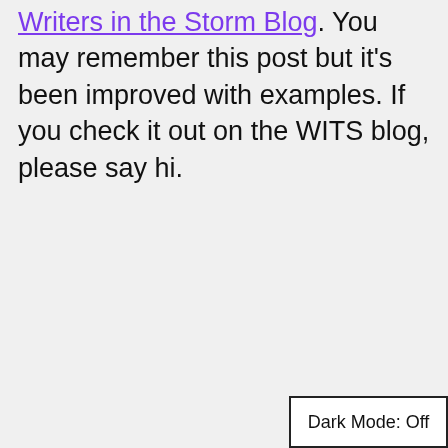Writers in the Storm Blog. You may remember this post but it's been improved with examples. If you check it out on the WITS blog, please say hi.
Dark Mode: Off